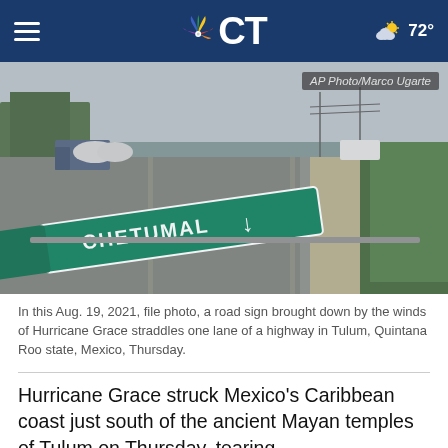NBC CT — 72°
[Figure (photo): A road sign reading CHETUMAL knocked down across a highway lane during Hurricane Grace. Trucks and vehicles visible on rainy highway. Green vegetation on right side. AP Photo/Marco Ugarte credit overlay.]
In this Aug. 19, 2021, file photo, a road sign brought down by the winds of Hurricane Grace straddles one lane of a highway in Tulum, Quintana Roo state, Mexico, Thursday.
Hurricane Grace struck Mexico's Caribbean coast just south of the ancient Mayan temples of Tulum on Thursday, tearing